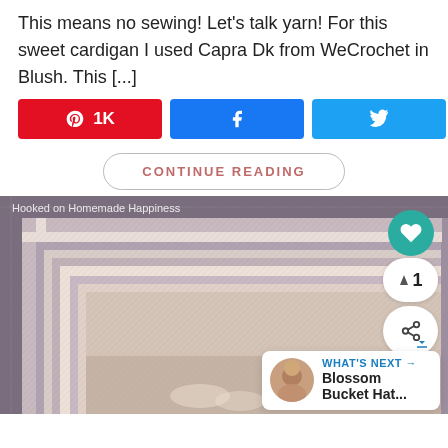This means no sewing! Let's talk yarn! For this sweet cardigan I used Capra Dk from WeCrochet in Blush. This [...]
[Figure (screenshot): Social sharing buttons: Pinterest (1K), Facebook share, Twitter share, and 1K SHARES count]
CONTINUE READING
[Figure (photo): Close-up photo of a crocheted blanket in grey, cream, and mauve tones with geometric striped border pattern. Watermark: 'Hooked on Homemade Happiness'. Overlay buttons: heart (teal), count '1', share icon, and a 'WHAT'S NEXT → Blossom Bucket Hat...' card.]